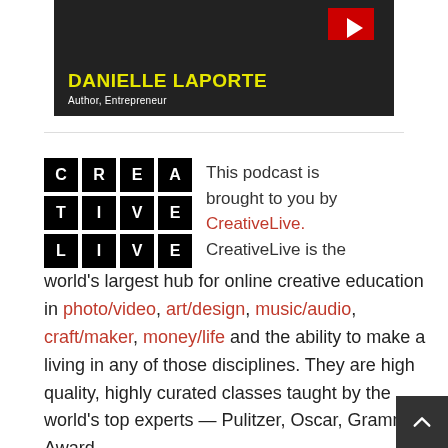[Figure (screenshot): Thumbnail image showing Danielle LaPorte with YouTube play button icon, name in yellow capital letters and title 'Author, Entrepreneur' in white]
This podcast is brought to you by CreativeLive. CreativeLive is the world's largest hub for online creative education in photo/video, art/design, music/audio, craft/maker, money/life and the ability to make a living in any of those disciplines. They are high quality, highly curated classes taught by the world's top experts — Pulitzer, Oscar, Grammy Award